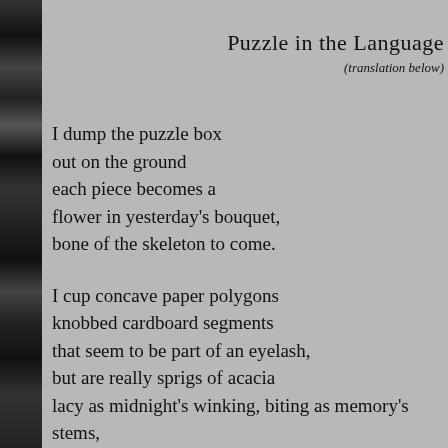[Figure (photo): Left strip showing a vertical strip of black and white photographs/images of skulls and other objects along the left margin of the page]
Puzzle in the Language
(translation below)
I dump the puzzle box
out on the ground
each piece becomes a
flower in yesterday's bouquet,
bone of the skeleton to come.
I cup concave paper polygons
knobbed cardboard segments
that seem to be part of an eyelash,
but are really sprigs of acacia
lacy as midnight's winking, biting as memory's stems,